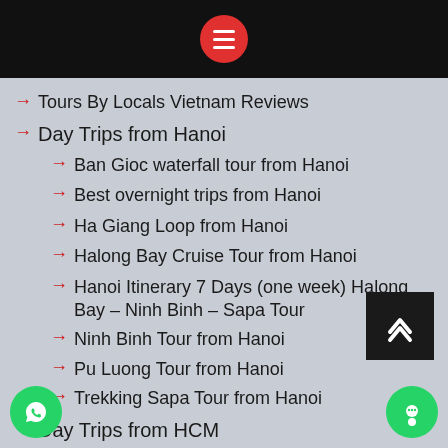Tours By Locals Vietnam Reviews
Day Trips from Hanoi
Ban Gioc waterfall tour from Hanoi
Best overnight trips from Hanoi
Ha Giang Loop from Hanoi
Halong Bay Cruise Tour from Hanoi
Hanoi Itinerary 7 Days (one week) Halong Bay – Ninh Binh – Sapa Tour
Ninh Binh Tour from Hanoi
Pu Luong Tour from Hanoi
Trekking Sapa Tour from Hanoi
Day Trips from HCM
Hanoi Car Rental